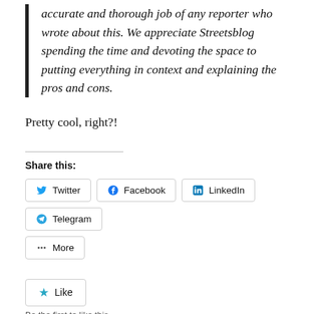Igor's article about our fare issues was the most accurate and thorough job of any reporter who wrote about this. We appreciate Streetsblog spending the time and devoting the space to putting everything in context and explaining the pros and cons.
Pretty cool, right?!
Share this:
Twitter Facebook LinkedIn Telegram
More
Like
Be the first to like this.